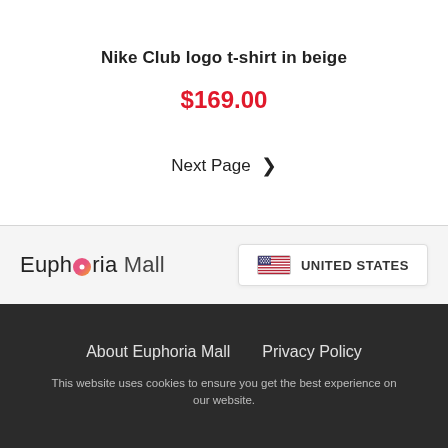Nike Club logo t-shirt in beige
$169.00
Next Page ❯
[Figure (logo): Euphoria Mall logo with stylized pink/orange 'o' and country selector showing United States flag]
About Euphoria Mall   Privacy Policy
This website uses cookies to ensure you get the best experience on our website.